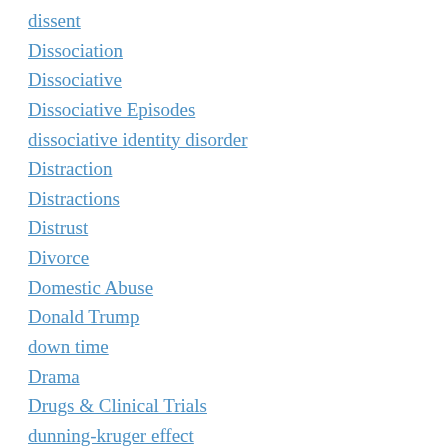dissent
Dissociation
Dissociative
Dissociative Episodes
dissociative identity disorder
Distraction
Distractions
Distrust
Divorce
Domestic Abuse
Donald Trump
down time
Drama
Drugs & Clinical Trials
dunning-kruger effect